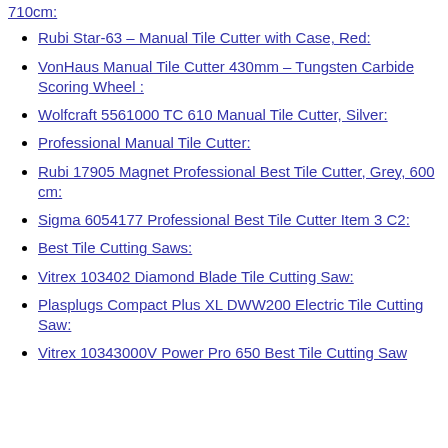710cm:
Rubi Star-63 – Manual Tile Cutter with Case, Red:
VonHaus Manual Tile Cutter 430mm – Tungsten Carbide Scoring Wheel :
Wolfcraft 5561000 TC 610 Manual Tile Cutter, Silver:
Professional Manual Tile Cutter:
Rubi 17905 Magnet Professional Best Tile Cutter, Grey, 600 cm:
Sigma 6054177 Professional Best Tile Cutter Item 3 C2:
Best Tile Cutting Saws:
Vitrex 103402 Diamond Blade Tile Cutting Saw:
Plasplugs Compact Plus XL DWW200 Electric Tile Cutting Saw:
Vitrex 10343000V Power Pro 650 Best Tile Cutting Saw